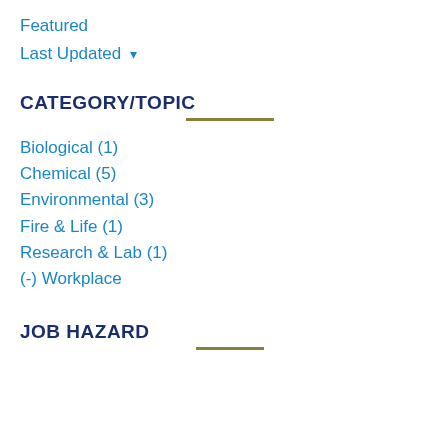Featured
Last Updated ▾
CATEGORY/TOPIC
Biological (1)
Chemical (5)
Environmental (3)
Fire & Life (1)
Research & Lab (1)
(-) Workplace
JOB HAZARD